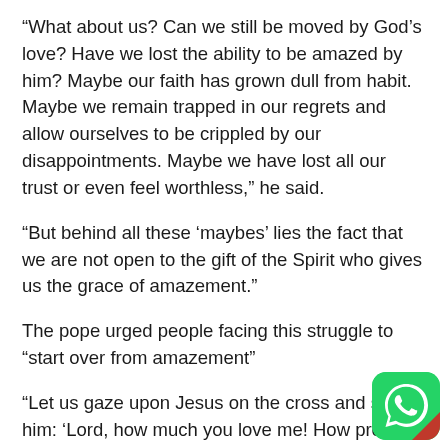“What about us? Can we still be moved by God’s love? Have we lost the ability to be amazed by him? Maybe our faith has grown dull from habit. Maybe we remain trapped in our regrets and allow ourselves to be crippled by our disappointments. Maybe we have lost all our trust or even feel worthless,” he said.
“But behind all these ‘maybes’ lies the fact that we are not open to the gift of the Spirit who gives us the grace of amazement.”
The pope urged people facing this struggle to “start over from amazement”
“Let us gaze upon Jesus on the cross and say to him: ‘Lord, how much you love me! How precious I am to you!’ Let us be amazed by
[Figure (logo): WhatsApp logo icon: green rounded square with white phone handset inside]